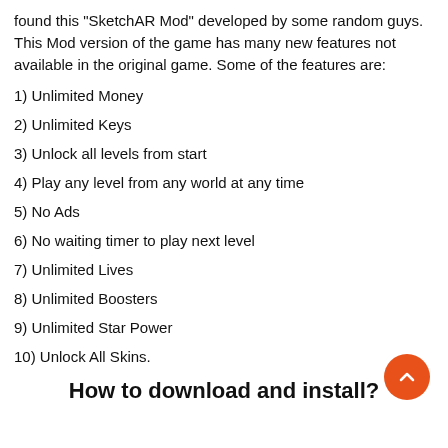found this "SketchAR Mod" developed by some random guys. This Mod version of the game has many new features not available in the original game. Some of the features are:
1) Unlimited Money
2) Unlimited Keys
3) Unlock all levels from start
4) Play any level from any world at any time
5) No Ads
6) No waiting timer to play next level
7) Unlimited Lives
8) Unlimited Boosters
9) Unlimited Star Power
10) Unlock All Skins.
How to download and install?